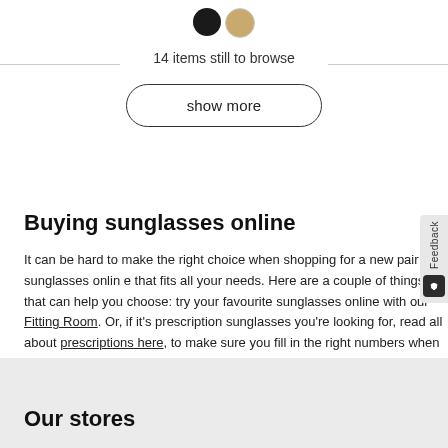[Figure (other): Color swatches: black circle and gold/tan circle]
14 items still to browse
show more
Buying sunglasses online
It can be hard to make the right choice when shopping for a new pair of sunglasses online that fits all your needs. Here are a couple of things that can help you choose: try your favourite sunglasses online with our Fitting Room. Or, if it's prescription sunglasses you're looking for, read all about prescriptions here, to make sure you fill in the right numbers when ordering your sunglasses. Our collection comes in a wide variety of shapes and materials, all handmade and designed by our in-house team in Amsterdam.
Our stores